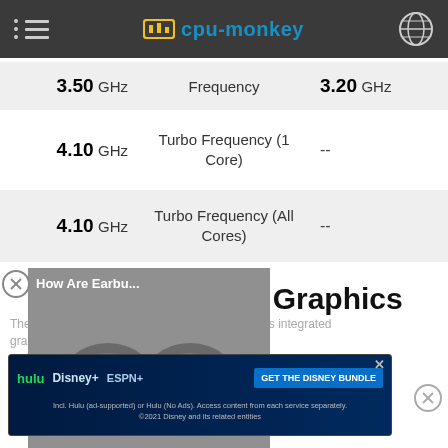cpu-monkey
| Left Value | Spec | Right Value |
| --- | --- | --- |
| 3.50 GHz | Frequency | 3.20 GHz |
| 4.10 GHz | Turbo Frequency (1 Core) | -- |
| 4.10 GHz | Turbo Frequency (All Cores) | -- |
[Figure (screenshot): Video ad thumbnail showing earbuds with play button overlay, titled 'How Are Earbu...']
l Graphics
The AMD FX-6300 or AMD Phenom II X4 955 has integrated graphics...
[Figure (other): Disney Bundle advertisement banner with Hulu, Disney+, ESPN+ logos and GET THE DISNEY BUNDLE button]